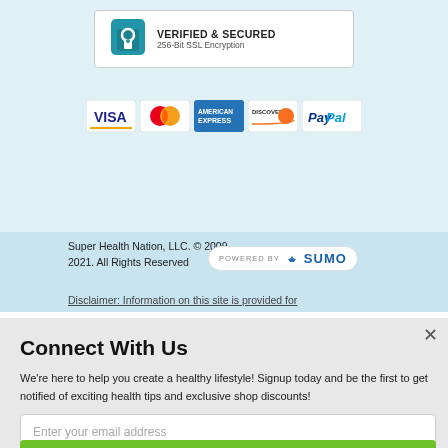[Figure (infographic): Verified & Secured badge with padlock icon and text '256-Bit SSL Encryption']
[Figure (infographic): Payment method icons: VISA, MasterCard, American Express, Discover, PayPal]
Super Health Nation, LLC. © 2009-2021. All Rights Reserved
[Figure (logo): Powered by SUMO badge]
Disclaimer: Information on this site is provided for
Connect With Us
We're here to help you create a healthy lifestyle! Signup today and be the first to get notified of exciting health tips and exclusive shop discounts!
Enter your email address
Subscribe Now